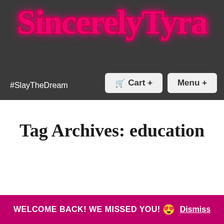SincerelyTyra
#SlayTheDream
Cart +
Menu +
Tag Archives: education
WELCOME BACK! WE MISSED YOU! 😍 Dismiss